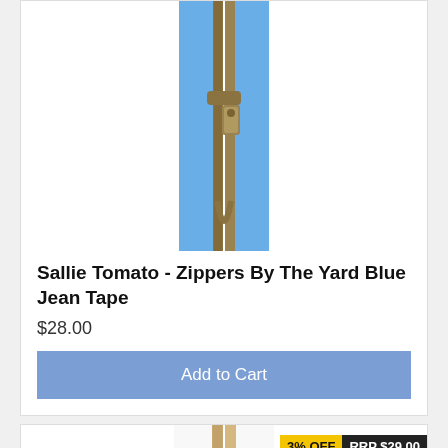[Figure (photo): Blue zipper by the yard with brass/gold metal teeth and a gold zipper pull, shown on white background]
Sallie Tomato - Zippers By The Yard Blue Jean Tape
$28.00
Add to Cart
[Figure (photo): White zipper by the yard with gold/tan metal teeth, partial view, with 3% OFF badge and RRP $29.00 badge]